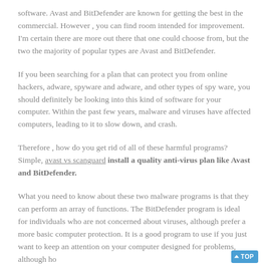software. Avast and BitDefender are known for getting the best in the commercial. However , you can find room intended for improvement. I'm certain there are more out there that one could choose from, but the two the majority of popular types are Avast and BitDefender.
If you been searching for a plan that can protect you from online hackers, adware, spyware and adware, and other types of spy ware, you should definitely be looking into this kind of software for your computer. Within the past few years, malware and viruses have affected computers, leading to it to slow down, and crash.
Therefore , how do you get rid of all of these harmful programs? Simple, avast vs scanguard install a quality anti-virus plan like Avast and BitDefender.
What you need to know about these two malware programs is that they can perform an array of functions. The BitDefender program is ideal for individuals who are not concerned about viruses, although prefer a more basic computer protection. It is a good program to use if you just want to keep an attention on your computer designed for problems, although ho